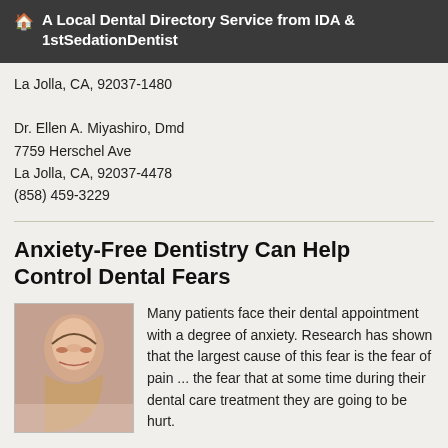🏠 A Local Dental Directory Service from IDA & 1stSedationDentist
La Jolla, CA, 92037-1480

Dr. Ellen A. Miyashiro, Dmd
7759 Herschel Ave
La Jolla, CA, 92037-4478
(858) 459-3229
Anxiety-Free Dentistry Can Help Control Dental Fears
[Figure (photo): Photo of a woman resting with eyes closed, appearing relaxed or asleep]
Many patients face their dental appointment with a degree of anxiety. Research has shown that the largest cause of this fear is the fear of pain ... the fear that at some time during their dental care treatment they are going to be hurt.
... read more
Four Ways To Be Understood by Your Dentist